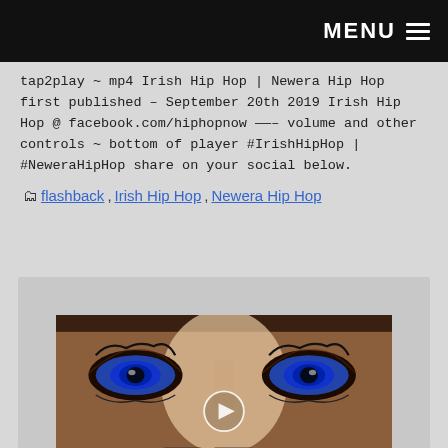MENU ≡
tap2play ~ mp4 Irish Hip Hop | Newera Hip Hop first published – September 20th 2019 Irish Hip Hop @ facebook.com/hiphopnow ——– volume and other controls ~ bottom of player #IrishHipHop | #NeweraHipHop share on your social below.
flashback, Irish Hip Hop, Newera Hip Hop
[Figure (photo): Close-up photo of a person's eyes with blue irises, dramatic lighting from the center. A circular play button is overlaid in the middle. Below the image are two navigation arrow buttons (up and down) on a dark background.]